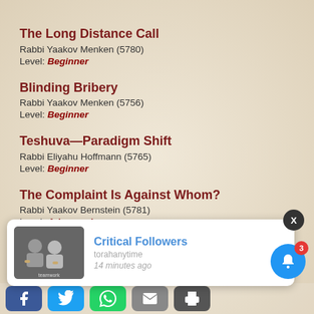The Long Distance Call
Rabbi Yaakov Menken (5780)
Level: Beginner
Blinding Bribery
Rabbi Yaakov Menken (5756)
Level: Beginner
Teshuva—Paradigm Shift
Rabbi Eliyahu Hoffmann (5765)
Level: Beginner
The Complaint Is Against Whom?
Rabbi Yaakov Bernstein (5781)
Level: Advanced
A Breath of Air
Rabbi Naftali Reich (5769)
Level: Beginner
[Figure (screenshot): Notification popup showing 'Critical Followers' with a thumbnail image, subtitle text, and '14 minutes ago']
[Figure (infographic): Social share bar at bottom with Facebook, Twitter, WhatsApp, Email, and Print buttons]